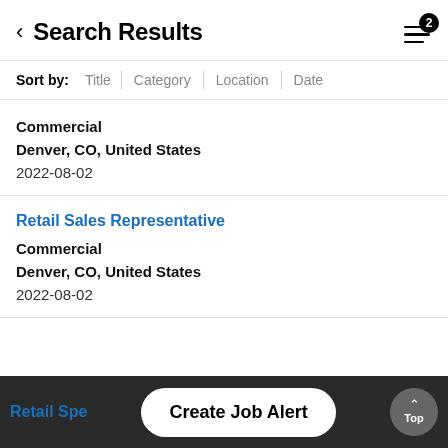Search Results
Sort by: Title | Category | Location | Date
Commercial
Denver, CO, United States
2022-08-02
Retail Sales Representative
Commercial
Denver, CO, United States
2022-08-02
Retail Spe...
Create Job Alert